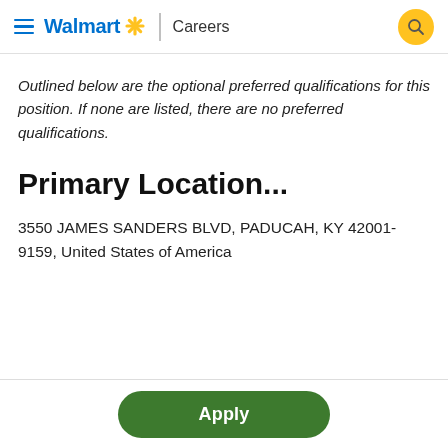Walmart Careers
Outlined below are the optional preferred qualifications for this position. If none are listed, there are no preferred qualifications.
Primary Location...
3550 JAMES SANDERS BLVD, PADUCAH, KY 42001-9159, United States of America
Apply